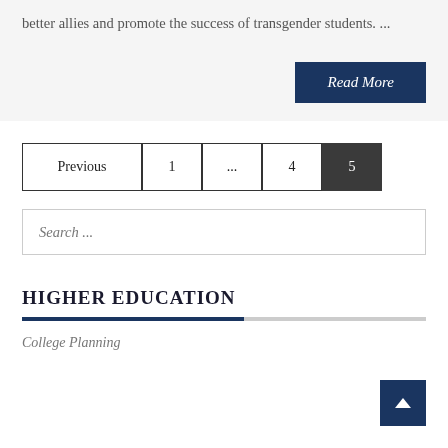better allies and promote the success of transgender students. ...
Read More
Previous 1 ... 4 5
Search ...
HIGHER EDUCATION
College Planning